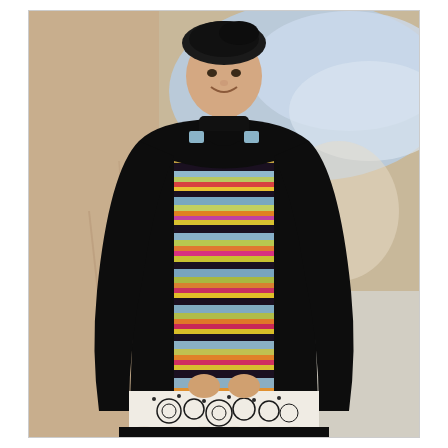[Figure (photo): A woman standing and smiling, wearing a black beret hat, a black long-sleeve turtleneck underneath a colorful horizontal-striped sleeveless knit dress/vest, and a black-and-white ornate lace-patterned skirt at the bottom. She is posed in front of a painted backdrop depicting a blue sky with clouds and a peach/beige landscape.]